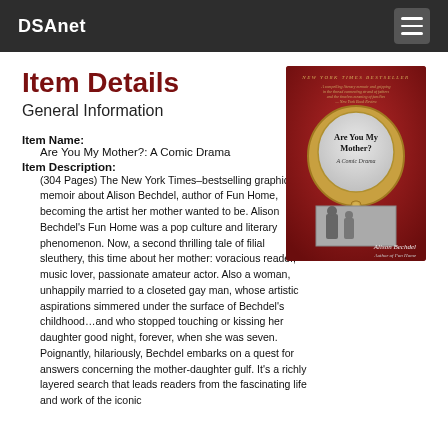DSAnet
Item Details
General Information
[Figure (photo): Book cover of 'Are You My Mother?: A Comic Drama' by Alison Bechdel. New York Times Bestseller. Red background with a golden ornate hand mirror showing the title text, and a black-and-white photograph below it.]
Item Name:
    Are You My Mother?: A Comic Drama
Item Description:
    (304 Pages) The New York Times–bestselling graphic memoir about Alison Bechdel, author of Fun Home, becoming the artist her mother wanted to be. Alison Bechdel's Fun Home was a pop culture and literary phenomenon. Now, a second thrilling tale of filial sleuthery, this time about her mother: voracious reader, music lover, passionate amateur actor. Also a woman, unhappily married to a closeted gay man, whose artistic aspirations simmered under the surface of Bechdel's childhood…and who stopped touching or kissing her daughter good night, forever, when she was seven. Poignantly, hilariously, Bechdel embarks on a quest for answers concerning the mother-daughter gulf. It's a richly layered search that leads readers from the fascinating life and work of the iconic